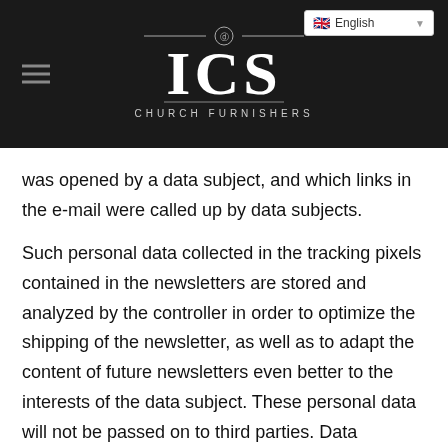[Figure (logo): ICS Church Furnishers logo on dark background with hamburger menu and English language selector]
was opened by a data subject, and which links in the e-mail were called up by data subjects.
Such personal data collected in the tracking pixels contained in the newsletters are stored and analyzed by the controller in order to optimize the shipping of the newsletter, as well as to adapt the content of future newsletters even better to the interests of the data subject. These personal data will not be passed on to third parties. Data subjects are at any time entitled to revoke the respective separate declaration